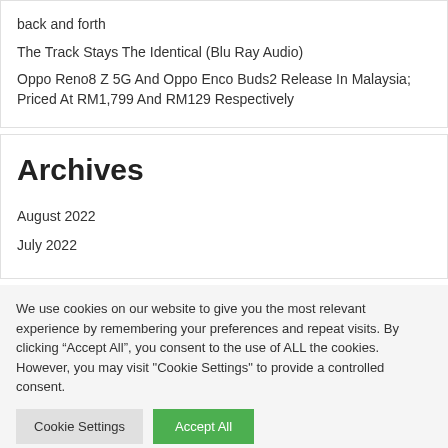back and forth
The Track Stays The Identical (Blu Ray Audio)
Oppo Reno8 Z 5G And Oppo Enco Buds2 Release In Malaysia; Priced At RM1,799 And RM129 Respectively
Archives
August 2022
July 2022
We use cookies on our website to give you the most relevant experience by remembering your preferences and repeat visits. By clicking “Accept All”, you consent to the use of ALL the cookies. However, you may visit "Cookie Settings" to provide a controlled consent.
Cookie Settings
Accept All